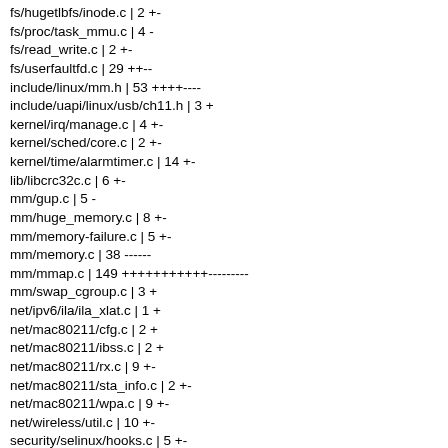fs/hugetlbfs/inode.c | 2 +-
fs/proc/task_mmu.c | 4 -
fs/read_write.c | 2 +-
fs/userfaultfd.c | 29 ++--
include/linux/mm.h | 53 ++++----
include/uapi/linux/usb/ch11.h | 3 +
kernel/irq/manage.c | 4 +-
kernel/sched/core.c | 2 +-
kernel/time/alarmtimer.c | 14 +-
lib/libcrc32c.c | 6 +-
mm/gup.c | 5 -
mm/huge_memory.c | 8 +-
mm/memory-failure.c | 5 +-
mm/memory.c | 38 ------
mm/mmap.c | 149 +++++++++++---------
mm/swap_cgroup.c | 3 +
net/ipv6/ila/ila_xlat.c | 1 +
net/mac80211/cfg.c | 2 +
net/mac80211/ibss.c | 2 +
net/mac80211/rx.c | 9 +-
net/mac80211/sta_info.c | 2 +-
net/mac80211/wpa.c | 9 +-
net/wireless/util.c | 10 +-
security/selinux/hooks.c | 5 +-
sound/pci/hda/hda_intel.c | 4 +-